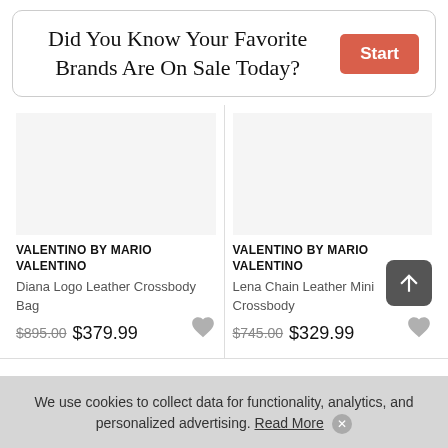Did You Know Your Favorite Brands Are On Sale Today? Start
VALENTINO BY MARIO VALENTINO
Diana Logo Leather Crossbody Bag
$895.00  $379.99
VALENTINO BY MARIO VALENTINO
Lena Chain Leather Mini Crossbody
$745.00  $329.99
We use cookies to collect data for functionality, analytics, and personalized advertising. Read More